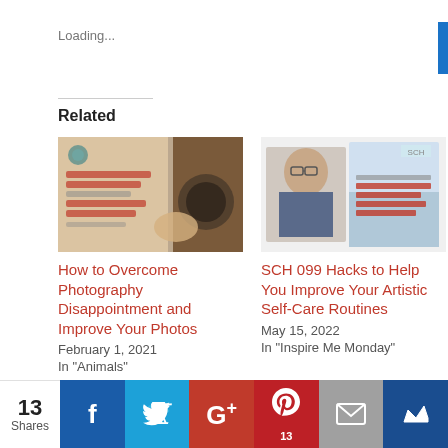Loading...
Related
[Figure (photo): Blog post thumbnail: How to Overcome Photography Disappointment and Improve Your Photos - showing a person holding a camera]
How to Overcome Photography Disappointment and Improve Your Photos
February 1, 2021
In "Animals"
[Figure (photo): Blog post thumbnail: SCH 099 Hacks to Help You Improve Your Artistic Self-Care Routines - showing photography-related images]
SCH 099 Hacks to Help You Improve Your Artistic Self-Care Routines
May 15, 2022
In "Inspire Me Monday"
13 Shares  [Facebook] [Twitter] [Google+] [Pinterest 13] [Email] [Crown]